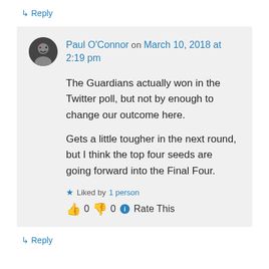↳ Reply
Paul O'Connor on March 10, 2018 at 2:19 pm
The Guardians actually won in the Twitter poll, but not by enough to change our outcome here.

Gets a little tougher in the next round, but I think the top four seeds are going forward into the Final Four.
★ Liked by 1 person
👍 0 👎 0 ℹ Rate This
↳ Reply